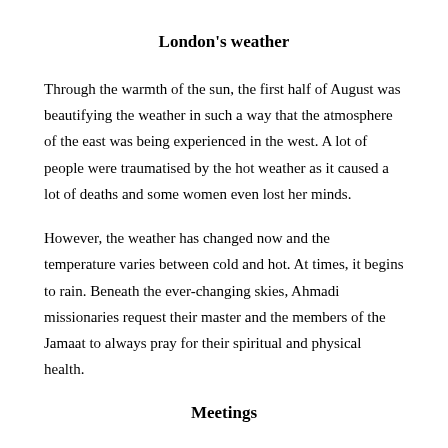London's weather
Through the warmth of the sun, the first half of August was beautifying the weather in such a way that the atmosphere of the east was being experienced in the west. A lot of people were traumatised by the hot weather as it caused a lot of deaths and some women even lost her minds.
However, the weather has changed now and the temperature varies between cold and hot. At times, it begins to rain. Beneath the ever-changing skies, Ahmadi missionaries request their master and the members of the Jamaat to always pray for their spiritual and physical health.
Meetings